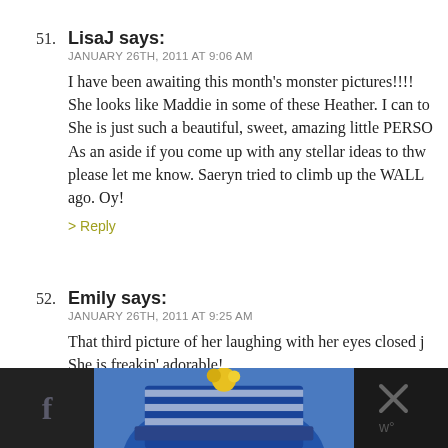51. LisaJ says:
JANUARY 26TH, 2011 AT 9:06 AM
I have been awaiting this month's monster pictures!!!!
She looks like Maddie in some of these Heather. I can to
She is just such a beautiful, sweet, amazing little PERSO
As an aside if you come up with any stellar ideas to thw please let me know. Saeryn tried to climb up the WALL ago. Oy!
> Reply
52. Emily says:
JANUARY 26TH, 2011 AT 9:25 AM
That third picture of her laughing with her eyes closed j She is freakin' adorable!
> Reply
[Figure (photo): Bottom banner showing: dark left panel with Facebook icon, center panel with blue and white knit hat with pom-pom, dark right panel with X and W icons]